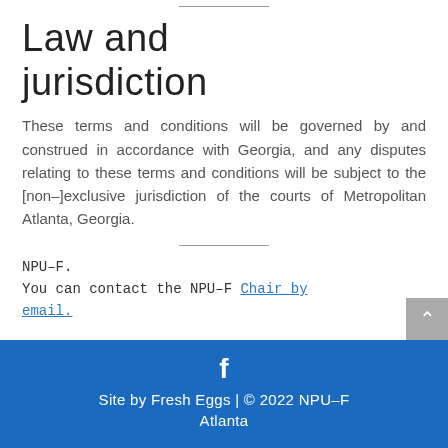Law and jurisdiction
These terms and conditions will be governed by and construed in accordance with Georgia, and any disputes relating to these terms and conditions will be subject to the [non–]exclusive jurisdiction of the courts of Metropolitan Atlanta, Georgia.
NPU–F.
You can contact the NPU–F Chair by email.
Site by Fresh Eggs | © 2022 NPU–F Atlanta